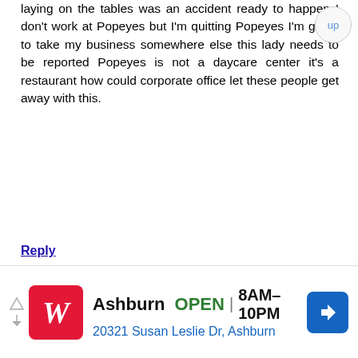laying on the tables was an accident ready to happen I don't work at Popeyes but I'm quitting Popeyes I'm going to take my business somewhere else this lady needs to be reported Popeyes is not a daycare center it's a restaurant how could corporate office let these people get away with this.
Reply
Anonymous  May 3, 2012 at 11:04 PM
I have been a resident of Los Angeles
[Figure (screenshot): Walgreens advertisement banner: Logo with red W, Ashburn OPEN 8AM-10PM, 20321 Susan Leslie Dr, Ashburn, with navigation arrow icon]